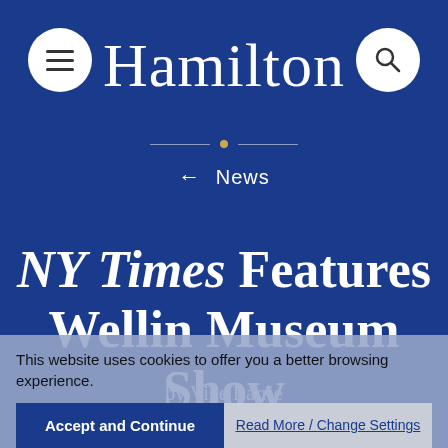Hamilton
← News
NY Times Features Wellin Museum Show
by Vige Barrie
March 16, 2017
Ruth and Elmer Wellin Museum of Art
This website uses cookies to offer you a better browsing experience.
Accept and Continue
Read More / Change Settings